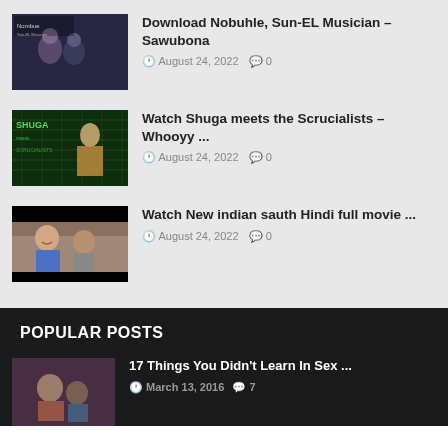Download Nobuhle, Sun-EL Musician – Sawubona | August 24, 2022 | 0 comments
Watch Shuga meets the Scrucialists – Whooyy ... | August 24, 2022 | 0 comments
Watch New indian sauth Hindi full movie ... | August 24, 2022 | 0 comments
POPULAR POSTS
17 Things You Didn't Learn In Sex ... | March 13, 2016 | 7 comments